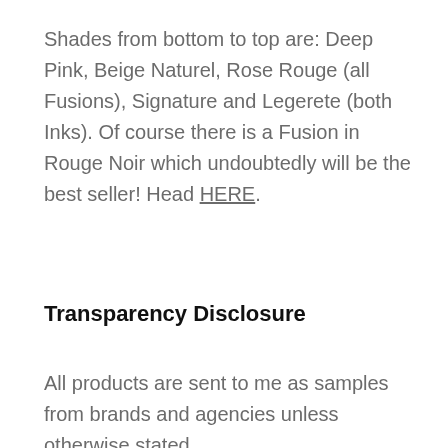Shades from bottom to top are: Deep Pink, Beige Naturel, Rose Rouge (all Fusions), Signature and Legerete (both Inks). Of course there is a Fusion in Rouge Noir which undoubtedly will be the best seller! Head HERE.
Transparency Disclosure
All products are sent to me as samples from brands and agencies unless otherwise stated.